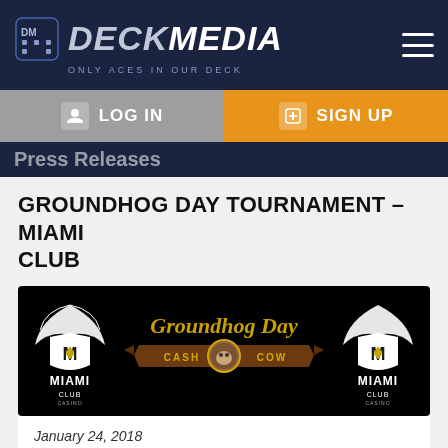[Figure (logo): Deck Media logo with dice icon and tagline 'ONLY ACES IN OUR DECK' on dark navy header]
LOG IN
SIGN UP
Press Releases
GROUNDHOG DAY TOURNAMENT – MIAMI CLUB
[Figure (illustration): Miami Club Casino 'Groundhog Day Cash Cow' tournament banner — black background with gold Groundhog Day text, Miami Club logos on both sides, and a brown ribbon banner reading CASH COW with a groundhog image in the center]
January 24, 2018
The '$1000 Groundhog Day Tournament' runs until February 3rd at Miami Club and features 'Cash Cow'!
Groundhog Day Tournament